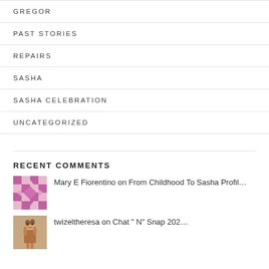GREGOR
PAST STORIES
REPAIRS
SASHA
SASHA CELEBRATION
UNCATEGORIZED
RECENT COMMENTS
Mary E Fiorentino on From Childhood To Sasha Profil…
twizeltheresa on Chat “ N” Snap 202…